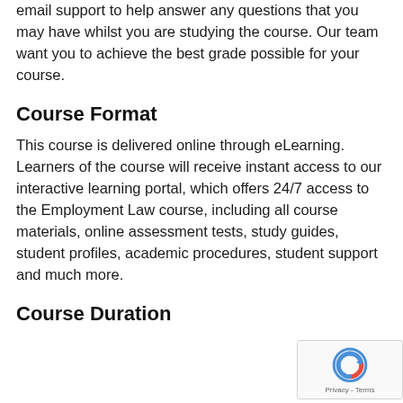email support to help answer any questions that you may have whilst you are studying the course. Our team want you to achieve the best grade possible for your course.
Course Format
This course is delivered online through eLearning. Learners of the course will receive instant access to our interactive learning portal, which offers 24/7 access to the Employment Law course, including all course materials, online assessment tests, study guides, student profiles, academic procedures, student support and much more.
Course Duration